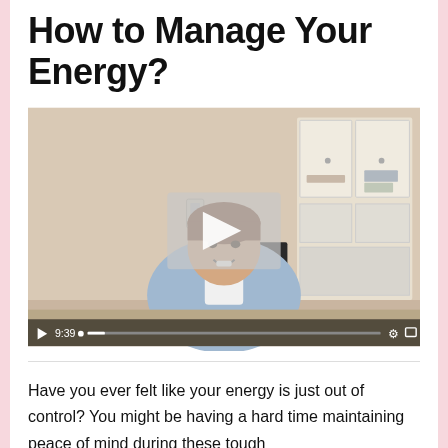How to Manage Your Energy?
[Figure (screenshot): Embedded video thumbnail showing a woman in a blue floral top speaking to camera in a living room setting. A play button overlay is visible in the center. Video duration shows 9:39 with a progress bar, settings icon, and fullscreen icon at the bottom.]
Have you ever felt like your energy is just out of control? You might be having a hard time maintaining peace of mind during these tough